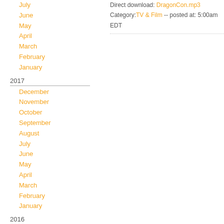July
June
May
April
March
February
January
2017
December
November
October
September
August
July
June
May
April
March
February
January
2016
December
November
October
September
August
July
Direct download: DragonCon.mp3
Category:TV & Film -- posted at: 5:00am EDT